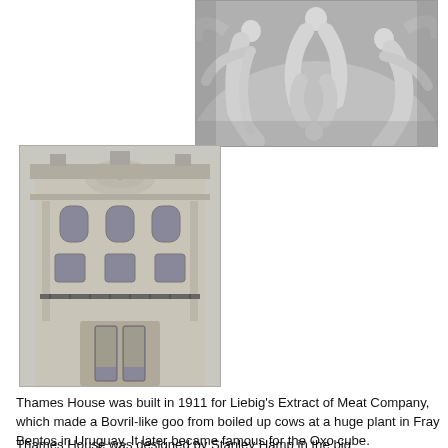[Figure (photo): Black and white photograph of classical sculptural relief showing multiple allegorical figures in dynamic poses, appearing to be architectural decoration above an arch or pediment.]
[Figure (photo): Color photograph of an ornate early 20th century building facade (Thames House) shot from street level, showing baroque-style stone architecture with arched windows, decorative ironwork balconies, and a rounded pediment at the top.]
Thames House was built in 1911 for Liebig's Extract of Meat Company, which made a Bovril-like goo from boiled up cows at a huge plant in Fray Bentos in Uruguay. It later became famous for the Oxo cube.
Thames House was designed by Stanley Hamp in the big